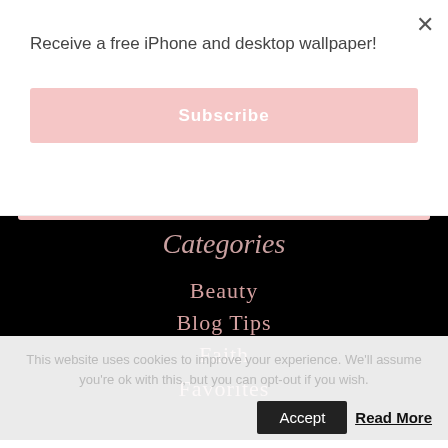Receive a free iPhone and desktop wallpaper!
Subscribe
Search here...
Categories
Beauty
Blog Tips
Faith
Favorites
This website uses cookies to improve your experience. We'll assume you're ok with this, but you can opt-out if you wish.
Accept
Read More